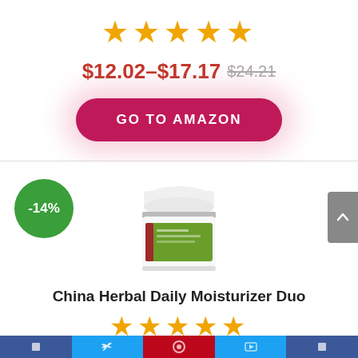[Figure (other): Five orange star rating icons]
$12.02–$17.17 $24.21 (strikethrough)
[Figure (other): Red rounded button: GO TO AMAZON]
[Figure (other): Green circle badge showing -14% discount]
[Figure (photo): White cream jar with green label - China Herbal Daily Moisturizer Duo product]
China Herbal Daily Moisturizer Duo
[Figure (other): Five orange star rating icons]